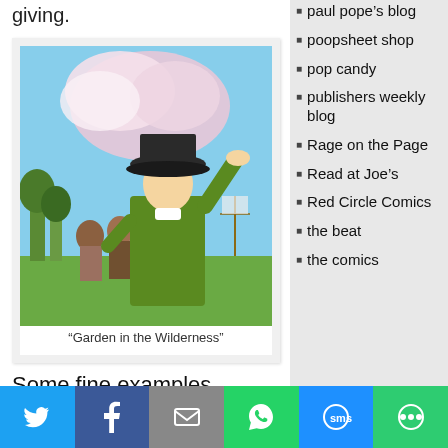giving.
[Figure (illustration): Illustration titled 'Garden in the Wilderness' showing a man in a wide-brimmed hat and green coat shielding his eyes, with other colonial figures and a landscape behind him.]
“Garden in the Wilderness”
Some fine examples include “Garden in the Wilderness,” story by Matt Boehm and art by Ellen T.
paul pope’s blog
poopsheet shop
pop candy
publishers weekly blog
Rage on the Page
Read at Joe’s
Red Circle Comics
the beat
the comics